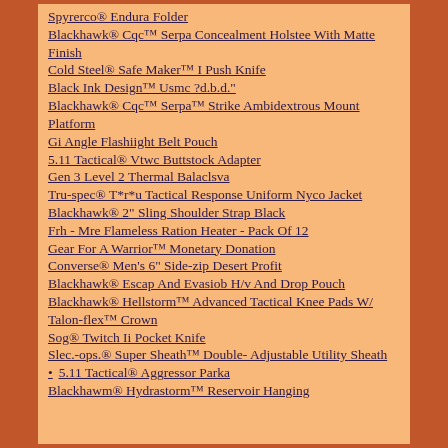Spyrerco® Endura Folder
Blackhawk® Cqc™ Serpa Concealment Holstee With Matte Finish
Cold Steel® Safe Maker™ I Push Knife
Black Ink Design™ Usmc ?d.b.d."
Blackhawk® Cqc™ Serpa™ Strike Ambidextrous Mount Platform
Gi Angle Flashiight Belt Pouch
5.11 Tactical® Vtwc Buttstock Adapter
Gen 3 Level 2 Thermal Balaclsva
Tru-spec® T*r*u Tactical Response Uniform Nyco Jacket
Blackhawk® 2" Sling Shoulder Strap Black
Frh - Mre Flameless Ration Heater - Pack Of 12
Gear For A Warrior™ Monetary Donation
Converse® Men's 6" Side-zip Desert Profit
Blackhawk® Escap And Evasiob H/v And Drop Pouch
Blackhawk® Hellstorm™ Advanced Tactical Knee Pads W/ Talon-flex™ Crown
Sog® Twitch Ii Pocket Knife
Slec.-ops.® Super Sheath™ Double- Adjustable Utility Sheath
5.11 Tactical® Aggressor Parka
Blackhawm® Hydrastorm™ Reservoir Hanging